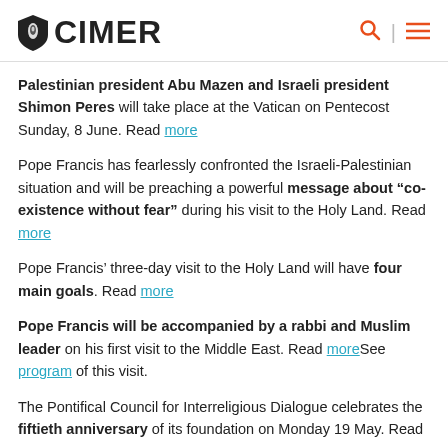CIMER
Palestinian president Abu Mazen and Israeli president Shimon Peres will take place at the Vatican on Pentecost Sunday, 8 June. Read more
Pope Francis has fearlessly confronted the Israeli-Palestinian situation and will be preaching a powerful message about “co-existence without fear” during his visit to the Holy Land. Read more
Pope Francis’ three-day visit to the Holy Land will have four main goals. Read more
Pope Francis will be accompanied by a rabbi and Muslim leader on his first visit to the Middle East. Read moreSee program of this visit.
The Pontifical Council for Interreligious Dialogue celebrates the fiftieth anniversary of its foundation on Monday 19 May. Read more